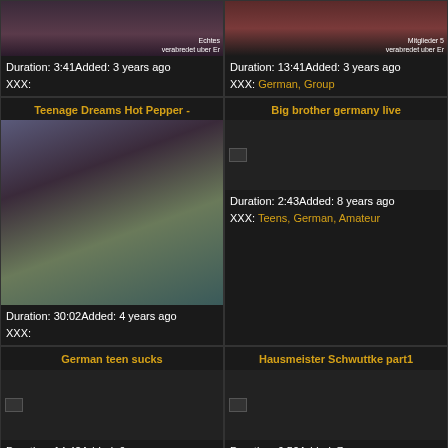[Figure (screenshot): Video thumbnail top left with overlay text 'Echtes verabredet uber Er']
Duration: 3:41Added: 3 years ago
XXX:
[Figure (screenshot): Video thumbnail top right with overlay text 'Mitglieder 5 verabredet uber Er']
Duration: 13:41Added: 3 years ago
XXX: German, Group
Teenage Dreams Hot Pepper -
[Figure (photo): Young woman in blue top lying on purple couch]
Duration: 30:02Added: 4 years ago
XXX:
Big brother germany live
[Figure (photo): Small broken thumbnail image]
Duration: 2:43Added: 8 years ago
XXX: Teens, German, Amateur
German teen sucks
[Figure (photo): Small broken thumbnail image]
Duration: 14:42Added: 6 years ago
XXX: Teens, German, Tits, Castings
Hausmeister Schwuttke part1
[Figure (photo): Small broken thumbnail image]
Duration: 6:50Added: 7 years ago
XXX: Teens, Anal, German
Bo-no-bo prep school
DBM - Teenie